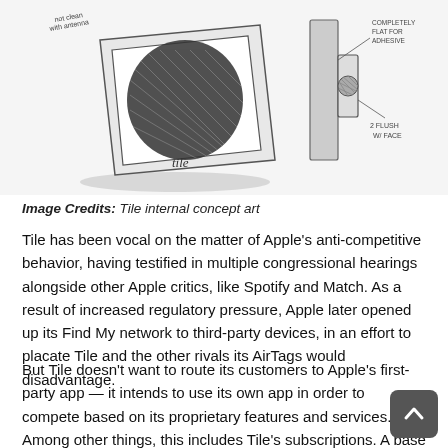[Figure (illustration): Tile internal concept art sketches showing a flat tile device with annotations 'not clean with antenna' on left sketch, and a side-profile flush mount sketch labeled '2 flush w/ face' and 'completely flat for adhesive' on right sketch]
Image Credits: Tile internal concept art
Tile has been vocal on the matter of Apple's anti-competitive behavior, having testified in multiple congressional hearings alongside other Apple critics, like Spotify and Match. As a result of increased regulatory pressure, Apple later opened up its Find My network to third-party devices, in an effort to placate Tile and the other rivals its AirTags would disadvantage.
But Tile doesn't want to route its customers to Apple's first-party app — it intends to use its own app in order to compete based on its proprietary features and services. Among other things, this includes Tile's subscriptions. A base plan is $29.99 per year, offering features